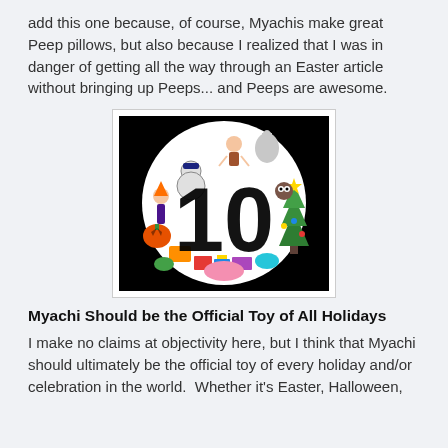add this one because, of course, Myachis make great Peep pillows, but also because I realized that I was in danger of getting all the way through an Easter article without bringing up Peeps... and Peeps are awesome.
[Figure (illustration): A circular illustration on a black square background showing colorful holiday characters and toys arranged in a circle, with a large bold '10' overlaid in the center.]
Myachi Should be the Official Toy of All Holidays
I make no claims at objectivity here, but I think that Myachi should ultimately be the official toy of every holiday and/or celebration in the world.  Whether it's Easter, Halloween,